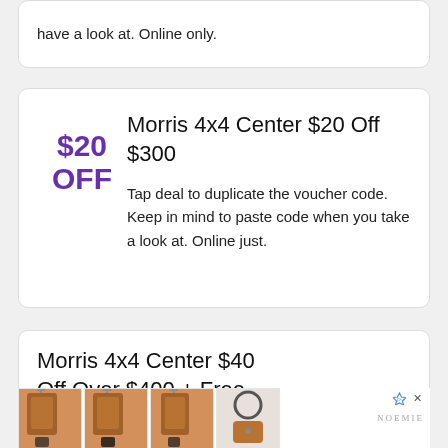have a look at. Online only.
Morris 4x4 Center $20 Off $300
Tap deal to duplicate the voucher code. Keep in mind to paste code when you take a look at. Online just.
Morris 4x4 Center $40 Off Over $400 + Free
[Figure (photo): Advertisement banner showing leather phone cases and a keychain wallet from brand NOEMIE, with four product images side by side.]